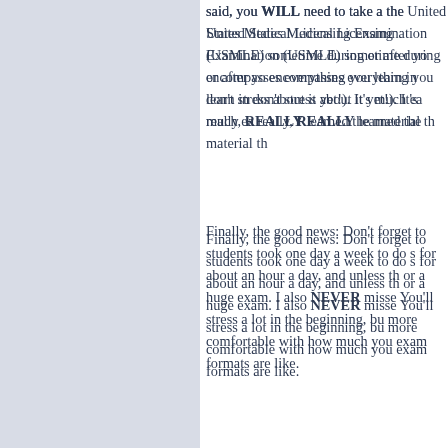said, you WILL need to take a the United States Medical Licensing Examination (USMLE) sometime during or after your medical school years. This encompasses everything you learn in medical school (which is why don't stress about it yet!). It's much easier to learn USMLE when you've really, REALLY learned the material th
Finally, the good news: Don't forget to have fun! Many of my students took one day a week to do something they love. I exercised for about an hour a day, and unless there was a major review session or a huge exam. I also NEVER missed a single party in med school. You'll stress a lot in the beginning, but you'll start getting more comfortable with how much you can handle and what the exam formats are like.
Want to read more? Click here to read more answers to your Pre-Med and MCAT
Have a question about pre-med? Tweet us at @MCATQoftheDay, or shoot us an em
We will be posting more of Allison